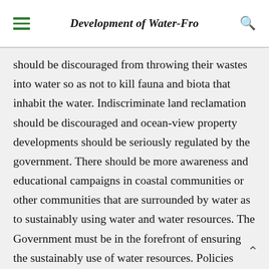Development of Water-Fro
should be discouraged from throwing their wastes into water so as not to kill fauna and biota that inhabit the water. Indiscriminate land reclamation should be discouraged and ocean-view property developments should be seriously regulated by the government. There should be more awareness and educational campaigns in coastal communities or other communities that are surrounded by water as to sustainably using water and water resources. The Government must be in the forefront of ensuring the sustainably use of water resources. Policies need to be made to that effect and laws should be enforced to ensure the citizenry complies with sustainability of the water ecosystem.